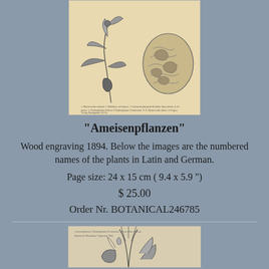[Figure (illustration): Vintage botanical wood engraving illustration from 1894 showing ant plants (Ameisenpflanzen) on aged yellowish paper background. Shows plant leaves, fruits and cross-sections.]
"Ameisenpflanzen"
Wood engraving 1894. Below the images are the numbered names of the plants in Latin and German.
Page size: 24 x 15 cm ( 9.4 x 5.9 ")
$ 25.00
Order Nr. BOTANICAL246785
[Figure (illustration): Partial view of another vintage botanical illustration showing plant details at the bottom of the page.]